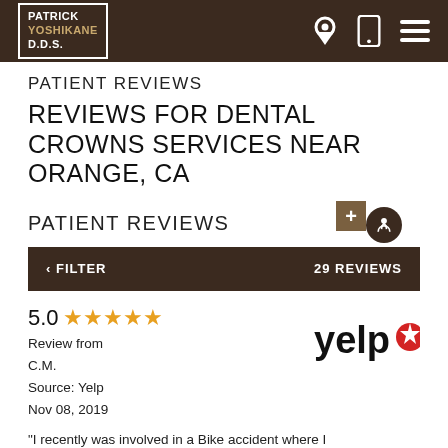PATRICK YOSHIKANE D.D.S.
PATIENT REVIEWS
REVIEWS FOR DENTAL CROWNS SERVICES NEAR ORANGE, CA
PATIENT REVIEWS
‹ FILTER   29 REVIEWS
5.0 ★★★★★
Review from
C.M.
Source: Yelp
Nov 08, 2019
[Figure (logo): Yelp logo with red burst icon]
"I recently was involved in a Bike accident where I